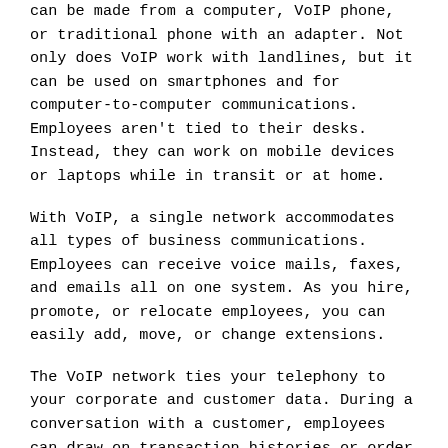can be made from a computer, VoIP phone, or traditional phone with an adapter. Not only does VoIP work with landlines, but it can be used on smartphones and for computer-to-computer communications. Employees aren't tied to their desks. Instead, they can work on mobile devices or laptops while in transit or at home.
With VoIP, a single network accommodates all types of business communications. Employees can receive voice mails, faxes, and emails all on one system. As you hire, promote, or relocate employees, you can easily add, move, or change extensions.
The VoIP network ties your telephony to your corporate and customer data. During a conversation with a customer, employees can draw on transaction histories or order statuses to